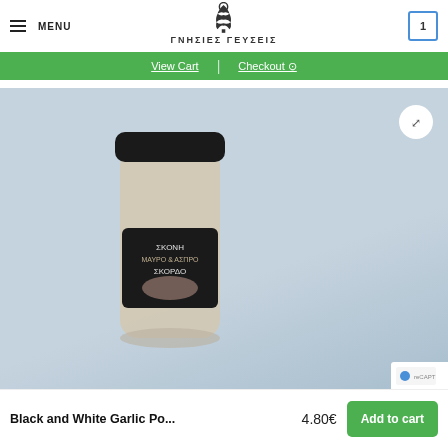MENU | ΓΝΗΣΙΕΣ ΓΕΥΣΕΙΣ | 1
View Cart | Checkout
[Figure (photo): A spice jar with a black lid containing Black and White Garlic Powder, with a dark label showing garlic imagery, photographed against a light blue-grey background. A circular expand/zoom button appears in the upper right of the image area.]
Black and White Garlic Po...
4.80€
Add to cart